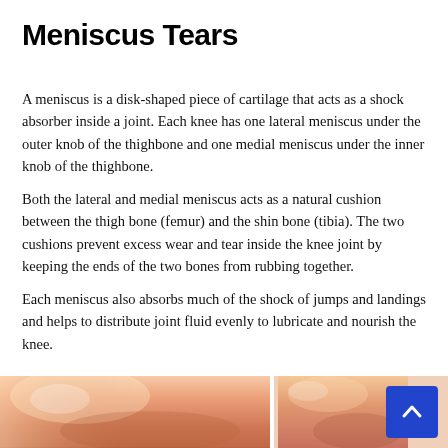Meniscus Tears
A meniscus is a disk-shaped piece of cartilage that acts as a shock absorber inside a joint. Each knee has one lateral meniscus under the outer knob of the thighbone and one medial meniscus under the inner knob of the thighbone.
Both the lateral and medial meniscus acts as a natural cushion between the thigh bone (femur) and the shin bone (tibia). The two cushions prevent excess wear and tear inside the knee joint by keeping the ends of the two bones from rubbing together.
Each meniscus also absorbs much of the shock of jumps and landings and helps to distribute joint fluid evenly to lubricate and nourish the knee.
[Figure (photo): Two side-by-side photos showing a human knee joint from different angles, depicting skin and knee anatomy. A blue back-to-top button with a chevron arrow is overlaid in the bottom right corner.]